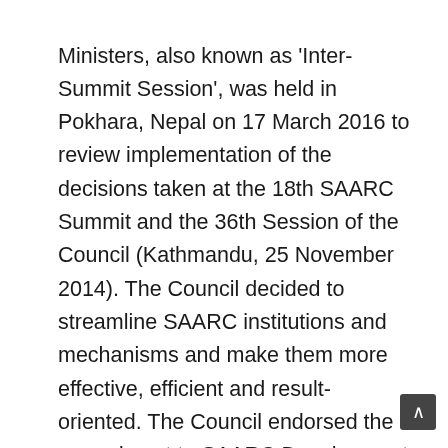Ministers, also known as 'Inter-Summit Session', was held in Pokhara, Nepal on 17 March 2016 to review implementation of the decisions taken at the 18th SAARC Summit and the 36th Session of the Council (Kathmandu, 25 November 2014). The Council decided to streamline SAARC institutions and mechanisms and make them more effective, efficient and result-oriented. The Council endorsed the amendment to SAARC Development Fund (SDF) Charter by reducing the requirement of the provisions from three-member criteria to one-member criteria with direct/indirect benefit to more than one member for launching projects under the Economic window of the SDF. The Council recommended locating SAARC Disaster Management Centre in New Delhi, India and merger of Environment Center with existing SAARC Energy Centre located in Islamabad, Pakistan.The Council has also been meeting